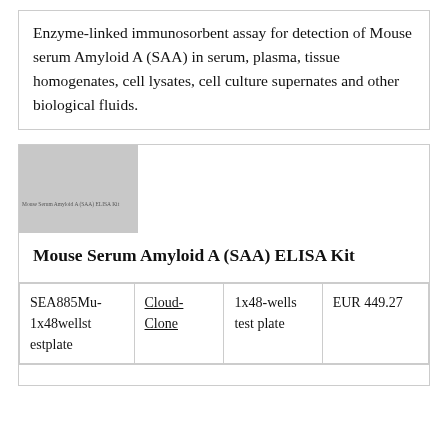Enzyme-linked immunosorbent assay for detection of Mouse serum Amyloid A (SAA) in serum, plasma, tissue homogenates, cell lysates, cell culture supernates and other biological fluids.
[Figure (photo): Product image placeholder for Mouse Serum Amyloid A (SAA) ELISA Kit, grey rectangle with small label text]
Mouse Serum Amyloid A (SAA) ELISA Kit
| SEA885Mu-1x48wellstestplate | Cloud-Clone | 1x48-wells test plate | EUR 449.27 |